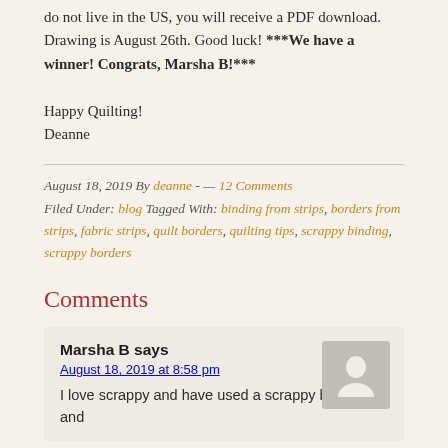do not live in the US, you will receive a PDF download. Drawing is August 26th. Good luck! ***We have a winner! Congrats, Marsha B!***
Happy Quilting!
Deanne
August 18, 2019 By deanne - — 12 Comments
Filed Under: blog Tagged With: binding from strips, borders from strips, fabric strips, quilt borders, quilting tips, scrappy binding, scrappy borders
Comments
Marsha B says
August 18, 2019 at 8:58 pm
I love scrappy and have used a scrappy binding and